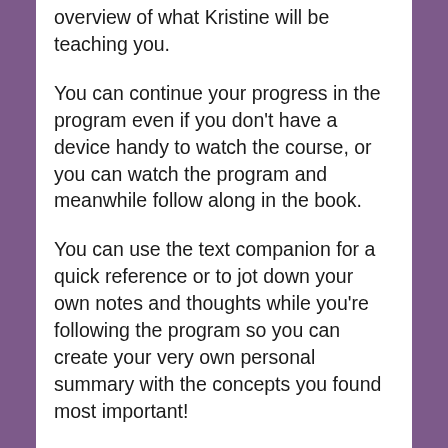overview of what Kristine will be teaching you.
You can continue your progress in the program even if you don't have a device handy to watch the course, or you can watch the program and meanwhile follow along in the book.
You can use the text companion for a quick reference or to jot down your own notes and thoughts while you're following the program so you can create your very own personal summary with the concepts you found most important!